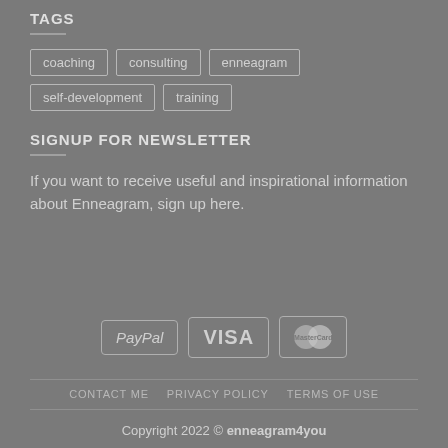TAGS
coaching
consulting
enneagram
self-development
training
SIGNUP FOR NEWSLETTER
If you want to receive useful and inspirational information about Enneagram, sign up here.
[Figure (logo): Payment method logos: PayPal, VISA, MasterCard]
CONTACT ME   PRIVACY POLICY   TERMS OF USE
Copyright 2022 © enneagram4you